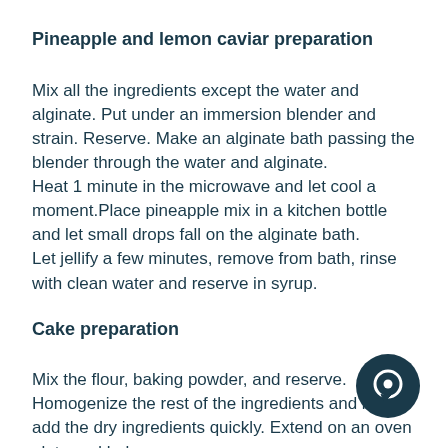Pineapple and lemon caviar preparation
Mix all the ingredients except the water and alginate. Put under an immersion blender and strain. Reserve. Make an alginate bath passing the blender through the water and alginate.
Heat 1 minute in the microwave and let cool a moment.Place pineapple mix in a kitchen bottle and let small drops fall on the alginate bath.
Let jellify a few minutes, remove from bath, rinse with clean water and reserve in syrup.
Cake preparation
Mix the flour, baking powder, and reserve.
Homogenize the rest of the ingredients and later add the dry ingredients quickly. Extend on an oven plate and bake